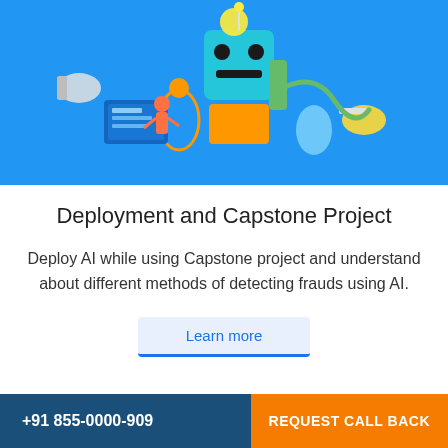[Figure (illustration): A colorful robot illustration with AI/tech components on a blue background]
Deployment and Capstone Project
Deploy AI while using Capstone project and understand about different methods of detecting frauds using AI.
Learn more
+91 855-0000-909   REQUEST CALL BACK